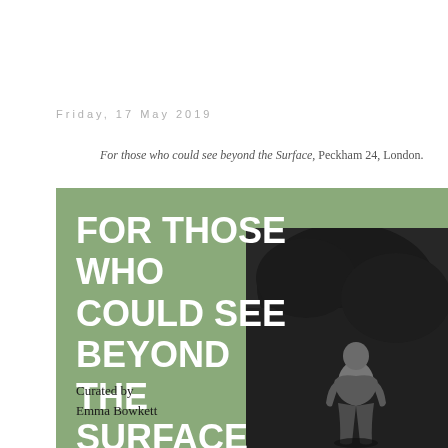Friday, 17 May 2019
For those who could see beyond the Surface, Peckham 24, London.
[Figure (illustration): Exhibition poster for 'For Those Who Could See Beyond The Surface', curated by Emma Bowkett. Green background with large white bold title text and a black-and-white photograph of a figure from behind in a dark landscape.]